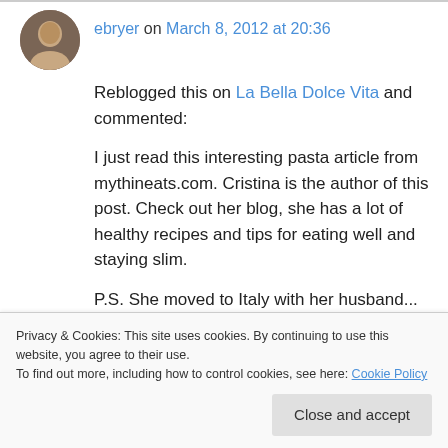ebryer on March 8, 2012 at 20:36
Reblogged this on La Bella Dolce Vita and commented:
I just read this interesting pasta article from mythineats.com. Cristina is the author of this post. Check out her blog, she has a lot of healthy recipes and tips for eating well and staying slim.
P.S. She moved to Italy with her husband... how amazing is that!
Privacy & Cookies: This site uses cookies. By continuing to use this website, you agree to their use.
To find out more, including how to control cookies, see here: Cookie Policy
Close and accept